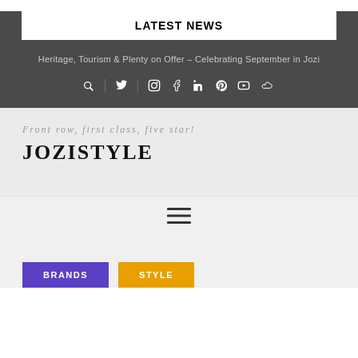LATEST NEWS
Heritage, Tourism & Plenty on Offer – Celebrating September in Jozi
[Figure (infographic): Social media icons row: search, twitter, instagram, facebook, linkedin, pinterest, youtube, soundcloud]
Front row, first class, five star!
JOZISTYLE
[Figure (infographic): Hamburger menu icon (three horizontal lines)]
BRANDS
STYLE